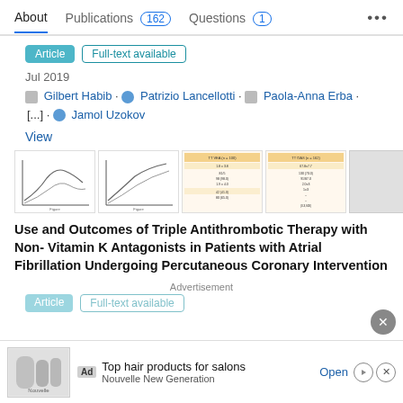About   Publications 162   Questions 1   ...
Article   Full-text available
Jul 2019
Gilbert Habib · Patrizio Lancellotti · Paola-Anna Erba · [...] · Jamol Uzokov
View
[Figure (screenshot): Thumbnails of article figures including survival curves, line graphs, and a data table]
Use and Outcomes of Triple Antithrombotic Therapy with Non- Vitamin K Antagonists in Patients with Atrial Fibrillation Undergoing Percutaneous Coronary Intervention
Advertisement
Article   Full-text available
Ad  Top hair products for salons  Nouvelle New Generation  Open